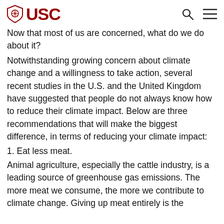USC
Now that most of us are concerned, what do we do about it?
Notwithstanding growing concern about climate change and a willingness to take action, several recent studies in the U.S. and the United Kingdom have suggested that people do not always know how to reduce their climate impact. Below are three recommendations that will make the biggest difference, in terms of reducing your climate impact:
1. Eat less meat.
Animal agriculture, especially the cattle industry, is a leading source of greenhouse gas emissions. The more meat we consume, the more we contribute to climate change. Giving up meat entirely is the